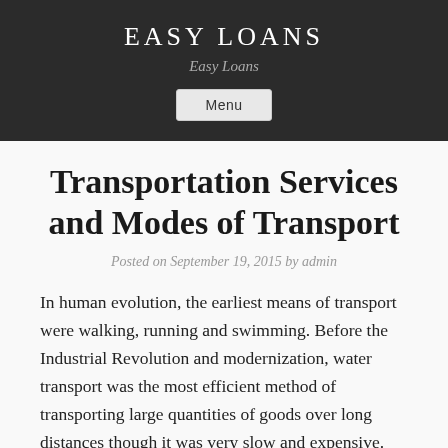EASY LOANS
Easy Loans
Menu
Transportation Services and Modes of Transport
Posted on September 19, 2015 by admin
In human evolution, the earliest means of transport were walking, running and swimming. Before the Industrial Revolution and modernization, water transport was the most efficient method of transporting large quantities of goods over long distances though it was very slow and expensive. The importance of water